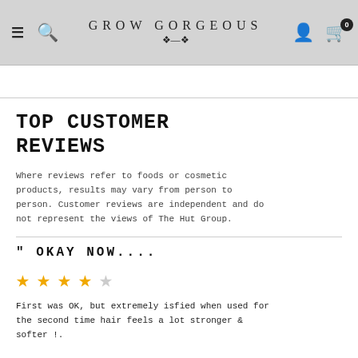GROW GORGEOUS
TOP CUSTOMER REVIEWS
Where reviews refer to foods or cosmetic products, results may vary from person to person. Customer reviews are independent and do not represent the views of The Hut Group.
" OKAY NOW....
[Figure (other): 4 out of 5 stars rating: 4 gold stars and 1 grey star]
First was OK, but extremely isfied when used for the second time hair feels a lot stronger & softer !.